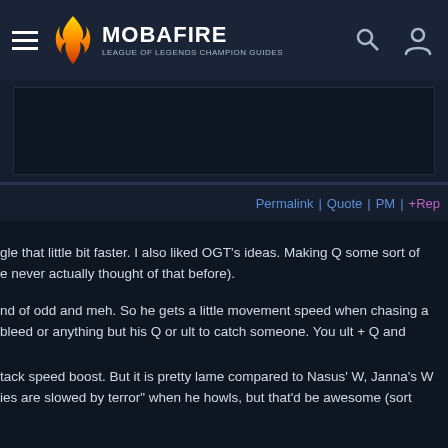MOBAFIRE — LEAGUE OF LEGENDS CHAMPION GUIDES
[Figure (other): Advertisement banner area (dark placeholder box)]
Permalink | Quote | PM | +Rep
gle that little bit faster. I also liked OGT's ideas. Making Q some sort of e never actually thought of that before).
nd of odd and meh. So he gets a little movement speed when chasing a bleed or anything but his Q or ult to catch someone. You ult + Q and
tack speed boost. But it is pretty lame compared to Nasus' W, Janna's W ies are slowed by terror" when he howls, but that'd be awesome (sort